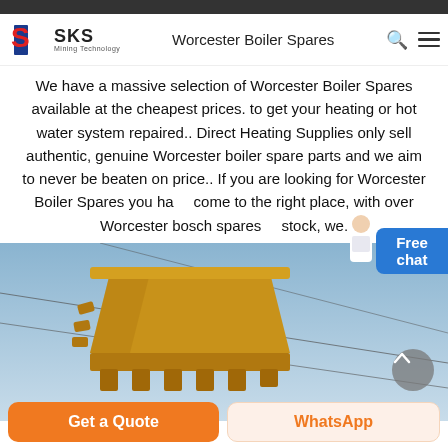Worcester Boiler Spares
We have a massive selection of Worcester Boiler Spares available at the cheapest prices. to get your heating or hot water system repaired.. Direct Heating Supplies only sell authentic, genuine Worcester boiler spare parts and we aim to never be beaten on price.. If you are looking for Worcester Boiler Spares you have come to the right place, with over Worcester bosch spares in stock, we.
[Figure (photo): An excavator bucket photographed from below against a light blue sky, with cable lines visible across the image. An upload/scroll-up button overlay is visible in the bottom right.]
Get a Quote
WhatsApp